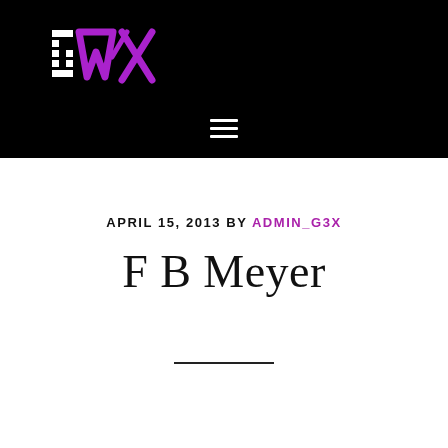G3X logo and navigation header
APRIL 15, 2013 BY ADMIN_G3X
F B Meyer